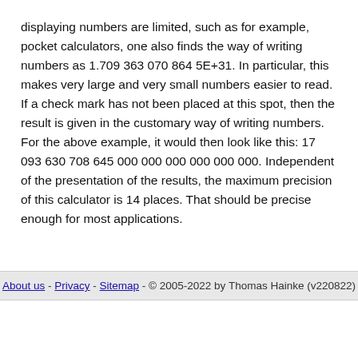displaying numbers are limited, such as for example, pocket calculators, one also finds the way of writing numbers as 1.709 363 070 864 5E+31. In particular, this makes very large and very small numbers easier to read. If a check mark has not been placed at this spot, then the result is given in the customary way of writing numbers. For the above example, it would then look like this: 17 093 630 708 645 000 000 000 000 000 000. Independent of the presentation of the results, the maximum precision of this calculator is 14 places. That should be precise enough for most applications.
About us - Privacy - Sitemap - © 2005-2022 by Thomas Hainke (v220822)